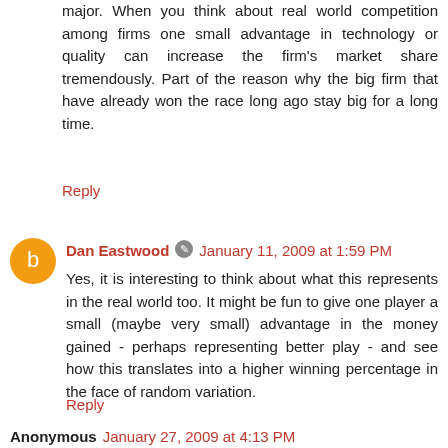major. When you think about real world competition among firms one small advantage in technology or quality can increase the firm's market share tremendously. Part of the reason why the big firm that have already won the race long ago stay big for a long time.
Reply
Dan Eastwood  January 11, 2009 at 1:59 PM
Yes, it is interesting to think about what this represents in the real world too. It might be fun to give one player a small (maybe very small) advantage in the money gained - perhaps representing better play - and see how this translates into a higher winning percentage in the face of random variation.
Reply
Anonymous  January 27, 2009 at 4:13 PM
Yeah the spreadsheet works great